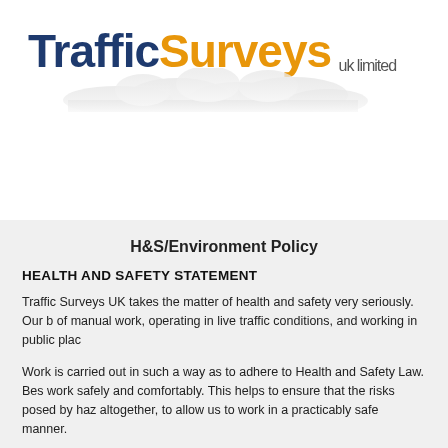[Figure (logo): Traffic Surveys UK Limited company logo with cloud graphic. 'Traffic' in dark navy blue, 'Surveys' in orange, 'uk limited' in grey beneath.]
H&S/Environment Policy
HEALTH AND SAFETY STATEMENT
Traffic Surveys UK takes the matter of health and safety very seriously. Our b of manual work, operating in live traffic conditions, and working in public plac
Work is carried out in such a way as to adhere to Health and Safety Law. Bes work safely and comfortably. This helps to ensure that the risks posed by haz altogether, to allow us to work in a practicably safe manner.
The...